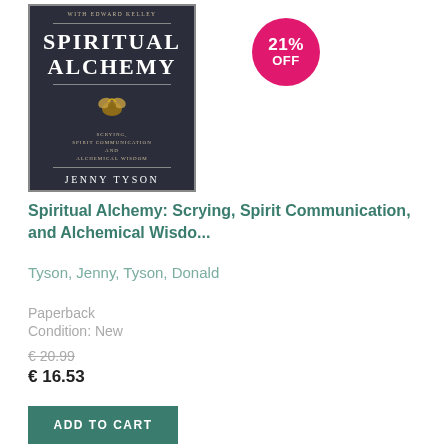[Figure (photo): Book cover of 'Spiritual Alchemy: Scrying, Spirit Communication and Alchemical Wisdom' by Jenny Tyson with Edward Kelley. Dark navy/charcoal background with ornate gold emblem and decorative borders.]
21% OFF
Spiritual Alchemy: Scrying, Spirit Communication, and Alchemical Wisdo...
Tyson, Jenny, Tyson, Donald
Paperback
Condition: New
€ 20.99
€ 16.53
ADD TO CART